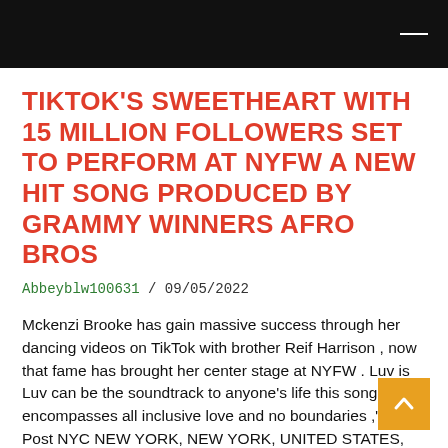TIKTOK'S SWEETHEART WITH 15 MILLION FOLLOWERS SET TO PERFORM AT NYFW A NEW HIT SONG PRODUCED BY GRAMMY WINNERS AFRO BROS
Abbeyblw100631 / 09/05/2022
Mckenzi Brooke has gain massive success through her dancing videos on TikTok with brother Reif Harrison , now that fame has brought her center stage at NYFW . Luv is Luv can be the soundtrack to anyone's life this song encompasses all inclusive love and no boundaries ," — Post NYC NEW YORK, NEW YORK, UNITED STATES, September 4, 2022...